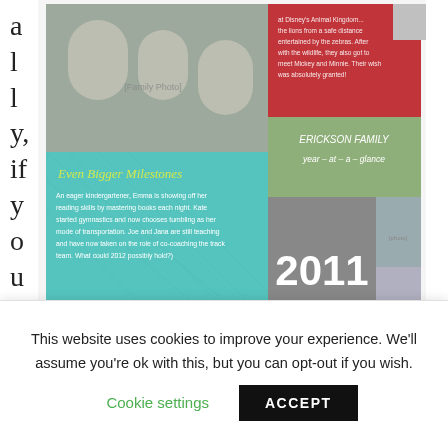[Figure (photo): A decorative Christmas/holiday card collage showing a family photo, text sections with 'ERICKSON FAMILY year-at-a-glance', 'Even Bigger Milestones' section with teal background, year '2011' on gray background, and a red section with text about Disney's Animal Kingdom.]
wanted to send a Christmas letter at the holidays, you had to print it on a separate piece of paper and stuff it inside the card you were sending out. No more! The cards shown here, and others like them, let you combine your Christmas card and letter into one easy-to-create mailing.
This website uses cookies to improve your experience. We'll assume you're ok with this, but you can opt-out if you wish.
Cookie settings
ACCEPT